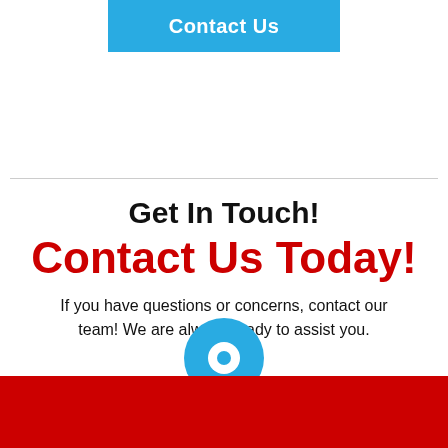Contact Us
Get In Touch!
Contact Us Today!
If you have questions or concerns, contact our team! We are always ready to assist you.
[Figure (logo): Location pin / map marker icon in blue with white center dot, overlapping a red footer bar with a white triangle/arrow below it]